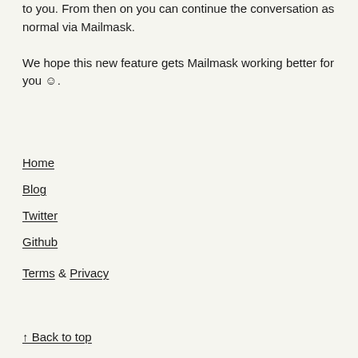to you. From then on you can continue the conversation as normal via Mailmask.
We hope this new feature gets Mailmask working better for you 🙂.
Home
Blog
Twitter
Github
Terms & Privacy
↑ Back to top